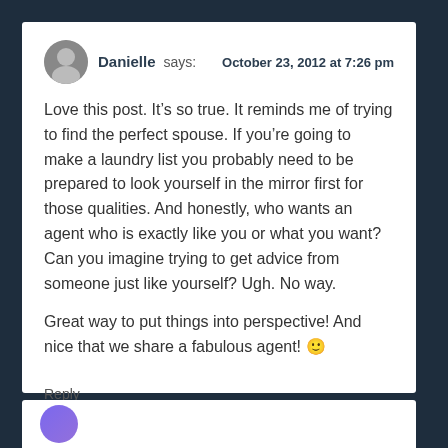Danielle says: October 23, 2012 at 7:26 pm
Love this post. It’s so true. It reminds me of trying to find the perfect spouse. If you’re going to make a laundry list you probably need to be prepared to look yourself in the mirror first for those qualities. And honestly, who wants an agent who is exactly like you or what you want? Can you imagine trying to get advice from someone just like yourself? Ugh. No way.
Great way to put things into perspective! And nice that we share a fabulous agent! 🙂
Reply